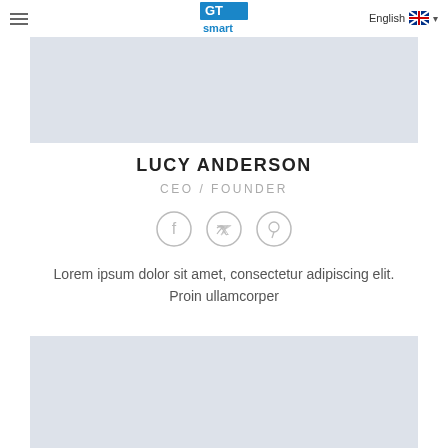English
[Figure (photo): Top placeholder image block with light blue-gray background]
LUCY ANDERSON
CEO / FOUNDER
[Figure (illustration): Three social media icon circles: Facebook, Twitter, Pinterest]
Lorem ipsum dolor sit amet, consectetur adipiscing elit. Proin ullamcorper
[Figure (photo): Bottom placeholder image block with light blue-gray background]